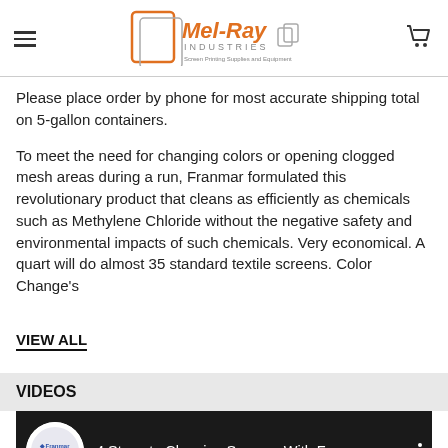Mel-Ray Industries — Screen Printing Supplies and Equipment
Please place order by phone for most accurate shipping total on 5-gallon containers.
To meet the need for changing colors or opening clogged mesh areas during a run, Franmar formulated this revolutionary product that cleans as efficiently as chemicals such as Methylene Chloride without the negative safety and environmental impacts of such chemicals. Very economical. A quart will do almost 35 standard textile screens. Color Change's
VIEW ALL
VIDEOS
[Figure (screenshot): YouTube video thumbnail showing Franmar channel logo and title '4 Steps to Cleaning Screens With F...']